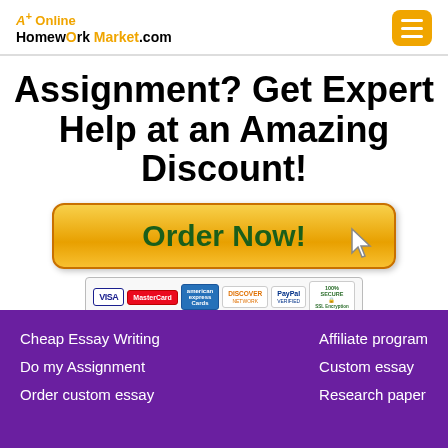[Figure (logo): A+ Online HomewOrk Market.com logo with orange accent text and hamburger menu button]
Assignment? Get Expert Help at an Amazing Discount!
[Figure (illustration): Orange gradient 'Order Now!' button with cursor arrow graphic]
[Figure (illustration): Payment badges: VISA, MasterCard, American Express Cards, DISCOVER NETWORK, PayPal VERIFIED, 100% SECURE SSL Encryption]
Cheap Essay Writing
Do my Assignment
Order custom essay
Affiliate program
Custom essay
Research paper